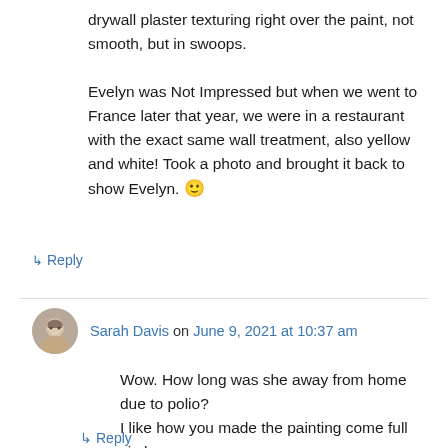drywall plaster texturing right over the paint, not smooth, but in swoops.

Evelyn was Not Impressed but when we went to France later that year, we were in a restaurant with the exact same wall treatment, also yellow and white! Took a photo and brought it back to show Evelyn. 🙂
↳ Reply
Sarah Davis on June 9, 2021 at 10:37 am
Wow. How long was she away from home due to polio?
I like how you made the painting come full circle.
↳ Reply